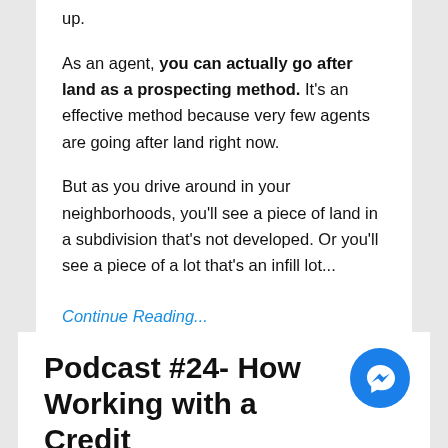up.
As an agent, you can actually go after land as a prospecting method. It's an effective method because very few agents are going after land right now.
But as you drive around in your neighborhoods, you'll see a piece of land in a subdivision that's not developed. Or you'll see a piece of a lot that's an infill lot...
Continue Reading...
Podcast #24- How Working with a Credit